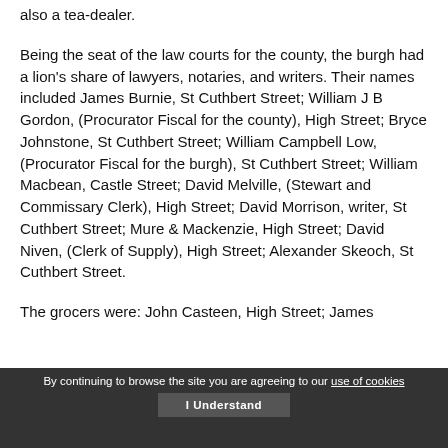also a tea-dealer.
Being the seat of the law courts for the county, the burgh had a lion's share of lawyers, notaries, and writers. Their names included James Burnie, St Cuthbert Street; William J B Gordon, (Procurator Fiscal for the county), High Street; Bryce Johnstone, St Cuthbert Street; William Campbell Low, (Procurator Fiscal for the burgh), St Cuthbert Street; William Macbean, Castle Street; David Melville, (Stewart and Commissary Clerk), High Street; David Morrison, writer, St Cuthbert Street; Mure & Mackenzie, High Street; David Niven, (Clerk of Supply), High Street; Alexander Skeoch, St Cuthbert Street.
The grocers were: John Casteen, High Street; James
By continuing to browse the site you are agreeing to our use of cookies  I Understand